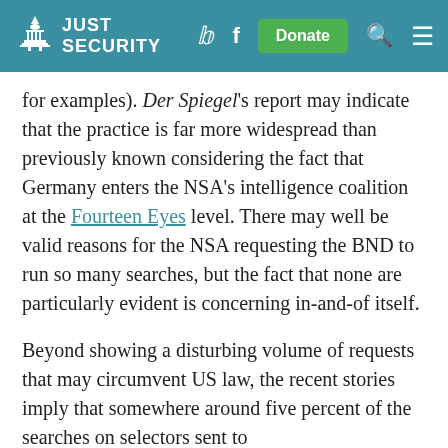JUST SECURITY
for examples). Der Spiegel's report may indicate that the practice is far more widespread than previously known considering the fact that Germany enters the NSA's intelligence coalition at the Fourteen Eyes level. There may well be valid reasons for the NSA requesting the BND to run so many searches, but the fact that none are particularly evident is concerning in-and-of itself.
Beyond showing a disturbing volume of requests that may circumvent US law, the recent stories imply that somewhere around five percent of the searches on selectors sent to